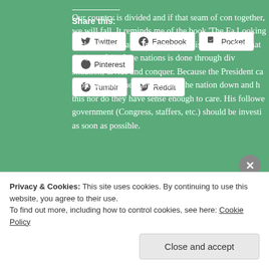Our country is divided and if that seam of con together, we will fall. It reminds me of the book 'The Fa Looking back at history and, in most cases history can find that the downfall of the nations is done through div situation, divide and conquer. Because the President ca supreme ruler, he wants to take the nation down and h this nor do they have sense enough to care. His followe government (Congress, staffers, etc.) should be investi as soon as possible.
Share this:
Twitter Facebook Pocket Pinterest Tumblr Reddit
Privacy & Cookies: This site uses cookies. By continuing to use this website, you agree to their use.
To find out more, including how to control cookies, see here: Cookie Policy
Close and accept